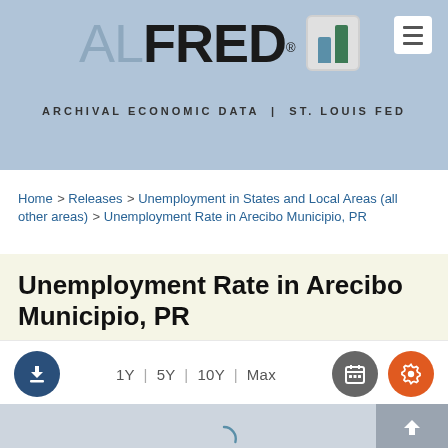AL FRED® ARCHIVAL ECONOMIC DATA | ST. LOUIS FED
Home > Releases > Unemployment in States and Local Areas (all other areas) > Unemployment Rate in Arecibo Municipio, PR
Unemployment Rate in Arecibo Municipio, PR
1Y | 5Y | 10Y | Max
[Figure (screenshot): ALFRED website UI showing download button, time period controls (1Y, 5Y, 10Y, Max), calendar icon, and settings gear icon, with a partially loaded chart area below showing a loading spinner]